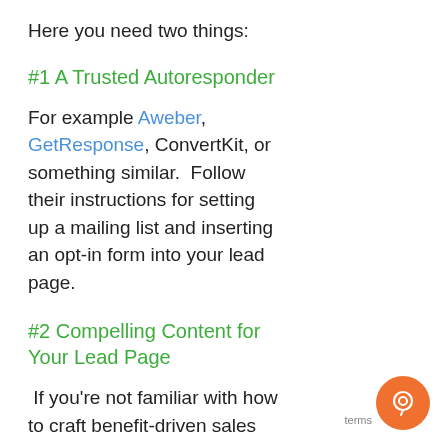Here you need two things:
#1 A Trusted Autoresponder
For example Aweber, GetResponse, ConvertKit, or something similar.  Follow their instructions for setting up a mailing list and inserting an opt-in form into your lead page.
#2 Compelling Content for Your Lead Page
If you're not familiar with how to craft benefit-driven sales